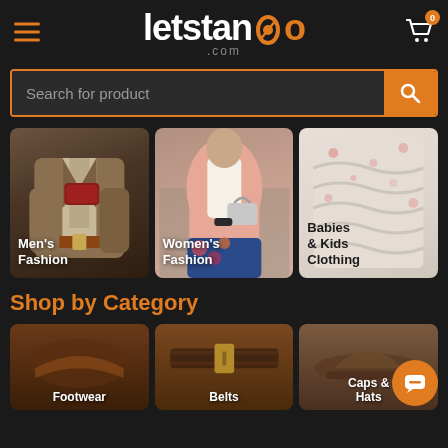[Figure (logo): letstango.com logo in white and orange on dark background]
Search for product
[Figure (photo): Three category cards: Men's Fashion (man in suit), Women's Fashion (woman in pink jacket), Babies & Kids Clothing (baby clothing)]
Shop by Category
[Figure (photo): Three category cards at bottom: Footwear, Belts, Caps & Hats]